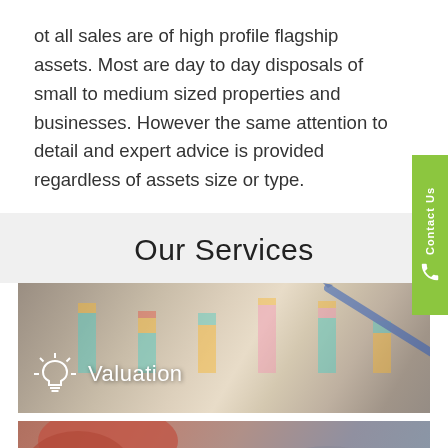ot all sales are of high profile flagship assets. Most are day to day disposals of small to medium sized properties and businesses. However the same attention to detail and expert advice is provided regardless of assets size or type.
Our Services
[Figure (photo): Bar chart graphic with a pen/pencil pointing at it, overlaid with a lightbulb icon and the text 'Valuation']
[Figure (photo): A person with red hair photographed from behind, partially visible at bottom of page]